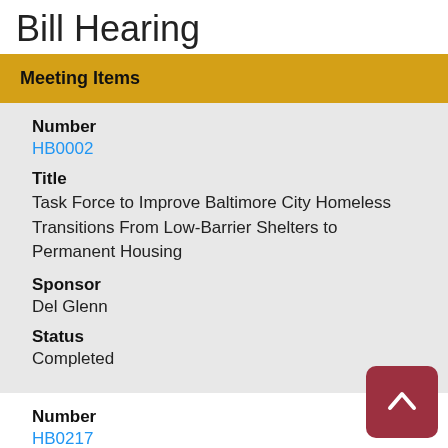Bill Hearing
Meeting Items
Number
HB0002
Title
Task Force to Improve Baltimore City Homeless Transitions From Low-Barrier Shelters to Permanent Housing
Sponsor
Del Glenn
Status
Completed
Number
HB0217